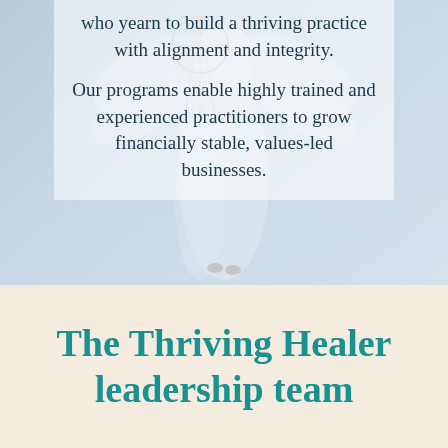who yearn to build a thriving practice with alignment and integrity.
Our programs enable highly trained and experienced practitioners to grow financially stable, values-led businesses.
The Thriving Healer leadership team